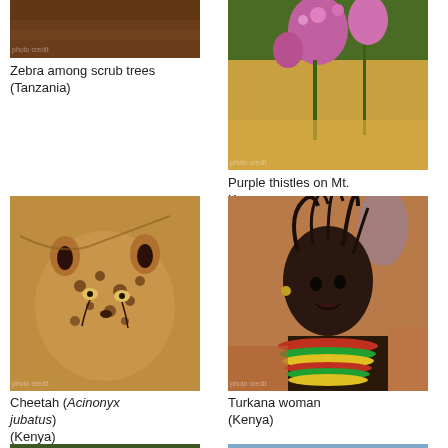[Figure (photo): Zebra among scrub trees, Tanzania - brown/dark textured surface photo (partially visible at top)]
Zebra among scrub trees (Tanzania)
[Figure (photo): Purple thistles on Mt. Kenya - close-up of pink/purple thistle flowers with green foliage]
Purple thistles on Mt. Kenya (Kenya)
[Figure (photo): Cheetah (Acinonyx jubatus) - close-up portrait of cheetah face, warm brown background, Kenya]
Cheetah (Acinonyx jubatus) (Kenya)
[Figure (photo): Turkana woman - portrait of Turkana woman with traditional colorful beaded necklaces, Kenya]
Turkana woman (Kenya)
[Figure (photo): Partial photo at bottom left - green landscape]
[Figure (photo): Partial photo at bottom right - sky and trees]